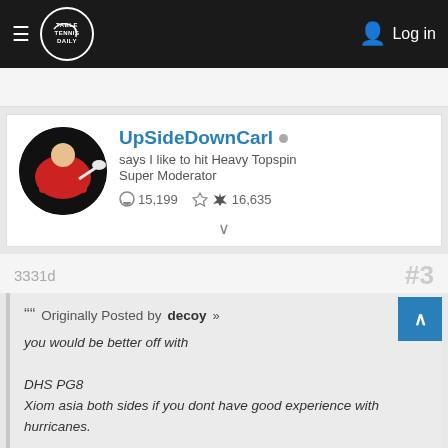TableTennisDaily — Log in
UpSideDownCarl ○
says I like to hit Heavy Topspin
Super Moderator
💬 15,199   👍 16,635
3331d
#3
Originally Posted by decoy »
you would be better off with

DHS PG8
Xiom asia both sides if you dont have good experience with hurricanes.

if you have good experince with Hurricanes then go with one Hurricane rubber and one xiom asia